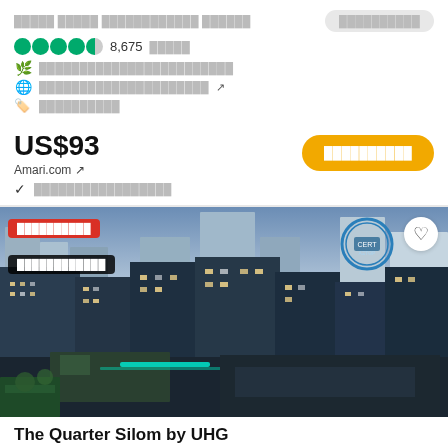[hotel name in Thai] [button label in Thai]
8,675 [reviews in Thai]
[address/location in Thai]
[website link in Thai] ↗
[tag in Thai]
US$93
Amari.com ↗
[button label in Thai]
[checkmark row in Thai]
[Figure (photo): Aerial cityscape photo of Bangkok city center at dusk showing dense urban buildings with lights, hotel photo for The Quarter Silom by UHG listing]
The Quarter Silom by UHG
697 [reviews in Thai]